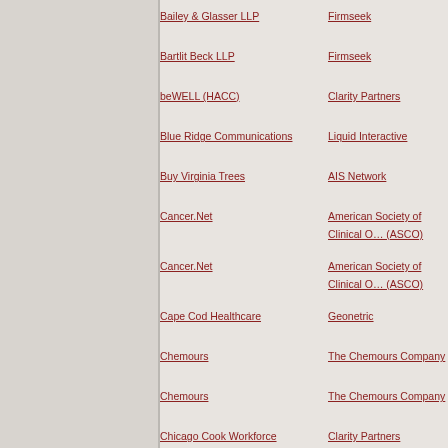Bailey & Glasser LLP | Firmseek
Bartlit Beck LLP | Firmseek
beWELL (HACC) | Clarity Partners
Blue Ridge Communications | Liquid Interactive
Buy Virginia Trees | AIS Network
Cancer.Net | American Society of Clinical Oncology (ASCO)
Cancer.Net | American Society of Clinical Oncology (ASCO)
Cape Cod Healthcare | Geonetric
Chemours | The Chemours Company
Chemours | The Chemours Company
Chicago Cook Workforce Partnership | Clarity Partners
Chow Tai Fook Jewellery Group Ltd | Chow Tai Fook Jewellery Group
Christ The Saviour Primary School | Creative Schools
Cone Health | Geonetric
Cook County Assessor's Office | Clarity Partners
Cook County Assessor's Office (RPIE) | Clarity Partners
Coronavirus Phishes and Scams | Inspired eLearning
Defending Against Phishers | Inspired eLearning